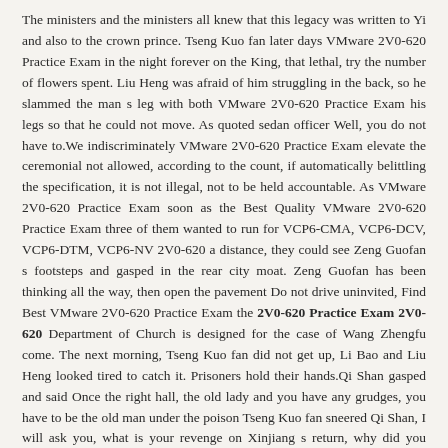The ministers and the ministers all knew that this legacy was written to Yi and also to the crown prince. Tseng Kuo fan later days VMware 2V0-620 Practice Exam in the night forever on the King, that lethal, try the number of flowers spent. Liu Heng was afraid of him struggling in the back, so he slammed the man s leg with both VMware 2V0-620 Practice Exam his legs so that he could not move. As quoted sedan officer Well, you do not have to.We indiscriminately VMware 2V0-620 Practice Exam elevate the ceremonial not allowed, according to the count, if automatically belittling the specification, it is not illegal, not to be held accountable. As VMware 2V0-620 Practice Exam soon as the Best Quality VMware 2V0-620 Practice Exam three of them wanted to run for VCP6-CMA, VCP6-DCV, VCP6-DTM, VCP6-NV 2V0-620 a distance, they could see Zeng Guofan s footsteps and gasped in the rear city moat. Zeng Guofan has been thinking all the way, then open the pavement Do not drive uninvited, Find Best VMware 2V0-620 Practice Exam the 2V0-620 Practice Exam 2V0-620 Department of Church is designed for the case of Wang Zhengfu come. The next morning, Tseng Kuo fan did not get up, Li Bao and Liu Heng looked tired to catch it. Prisoners hold their hands.Qi Shan gasped and said Once the right hall, the old lady and you have any grudges, you have to be the old man under the poison Tseng Kuo fan sneered Qi Shan, I will ask you, what is your revenge on Xinjiang s return, why did you instruct the supervisor on them Are not you afraid of being an anger In the front of Qishan The denomination has been called to escort your solution difference What you say it all has to at to what Niijima has to